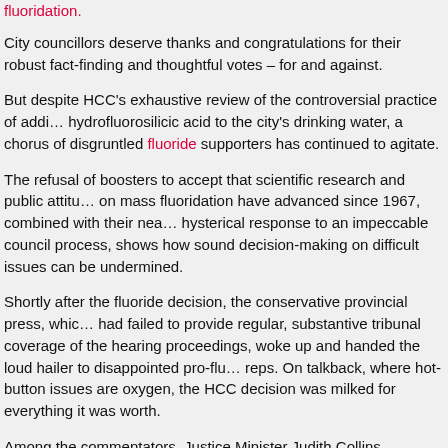fluoridation.
City councillors deserve thanks and congratulations for their robust fact-finding and thoughtful votes – for and against.
But despite HCC's exhaustive review of the controversial practice of adding hydrofluorosilicic acid to the city's drinking water, a chorus of disgruntled fluoride supporters has continued to agitate.
The refusal of boosters to accept that scientific research and public attitudes on mass fluoridation have advanced since 1967, combined with their near-hysterical response to an impeccable council process, shows how sound decision-making on difficult issues can be undermined.
Shortly after the fluoride decision, the conservative provincial press, which had failed to provide regular, substantive tribunal coverage of the hearing proceedings, woke up and handed the loud hailer to disappointed pro-fluoride reps. On talkback, where hot-button issues are oxygen, the HCC decision was milked for everything it was worth.
Among the commentators, Justice Minister Judith Collins deserves a lengthy sentence for exceptionally bad judgment. Collins attacked HCC Crs Mar…